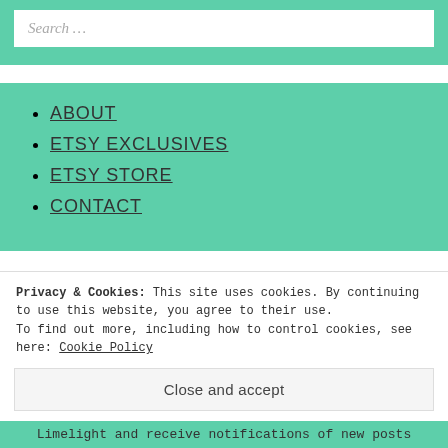Search …
ABOUT
ETSY EXCLUSIVES
ETSY STORE
CONTACT
Privacy & Cookies: This site uses cookies. By continuing to use this website, you agree to their use. To find out more, including how to control cookies, see here: Cookie Policy
Close and accept
Limelight and receive notifications of new posts